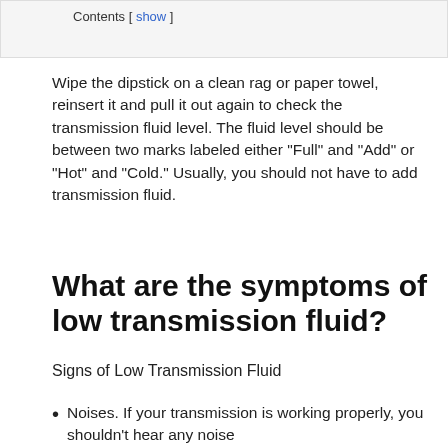Contents [ show ]
Wipe the dipstick on a clean rag or paper towel, reinsert it and pull it out again to check the transmission fluid level. The fluid level should be between two marks labeled either “Full” and “Add” or “Hot” and “Cold.” Usually, you should not have to add transmission fluid.
What are the symptoms of low transmission fluid?
Signs of Low Transmission Fluid
Noises. If your transmission is working properly, you shouldn’t hear any noise